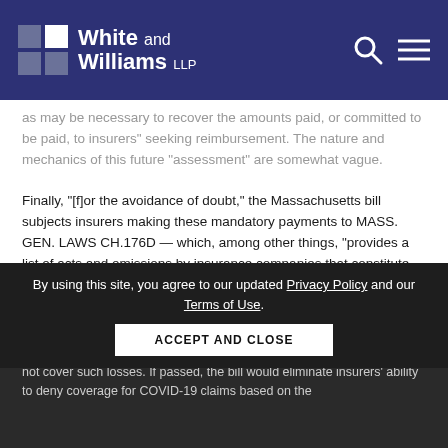White and Williams LLP
as may be necessary to recover the amounts paid, or committed to be paid, to insurers' seeking reimbursement. The nature and mechanics of this future "assessment" are somewhat vague.
Finally, "[f]or the avoidance of doubt," the Massachusetts bill subjects insurers making these mandatory payments to MASS. GEN. LAWS CH.176D — which, among other things, "provides a list of acts and omissions by insurance companies that constitute 'unfair claim settlement practices.'"[1]
The Massachusetts bill is, to our knowledge, the third such bill aimed at forcing insurers to pay for business-interruption losses resulting from COVID-19, even if an insurer's policy unambiguously excludes or does not cover such losses. If passed, the bill would eliminate insurers' ability to deny coverage for COVID-19 claims based on the
By using this site, you agree to our updated Privacy Policy and our Terms of Use.